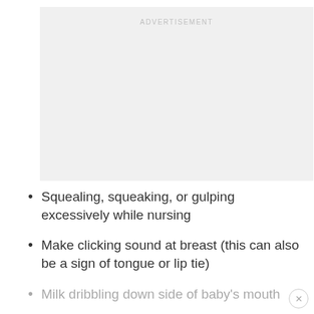[Figure (other): Advertisement placeholder box with light gray background and 'ADVERTISEMENT' label text]
Squealing, squeaking, or gulping excessively while nursing
Make clicking sound at breast (this can also be a sign of tongue or lip tie)
Milk dribbling down side of baby's mouth
Crying or resisting the breast